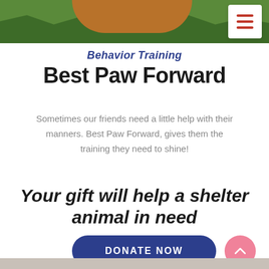[Figure (photo): Top banner photo showing a dog or animal in grass/outdoor setting with a hamburger menu icon overlay in top right]
Behavior Training
Best Paw Forward
Sometimes our friends need a little help with their manners. Best Paw Forward, gives them the training they need to shine!
Your gift will help a shelter animal in need
DONATE NOW